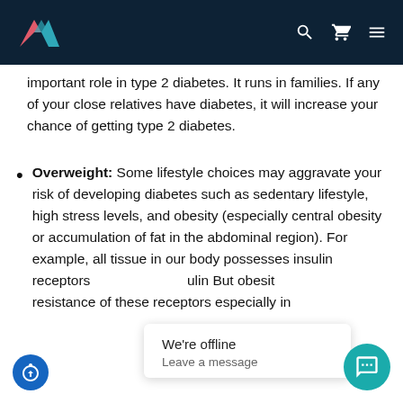Navigation bar with logo and icons
important role in type 2 diabetes. It runs in families. If any of your close relatives have diabetes, it will increase your chance of getting type 2 diabetes.
Overweight: Some lifestyle choices may aggravate your risk of developing diabetes such as sedentary lifestyle, high stress levels, and obesity (especially central obesity or accumulation of fat in the abdominal region). For example, all tissue in our body possesses insulin receptors [obscured] ulin But obesity [obscured] resistance of these receptors especially in